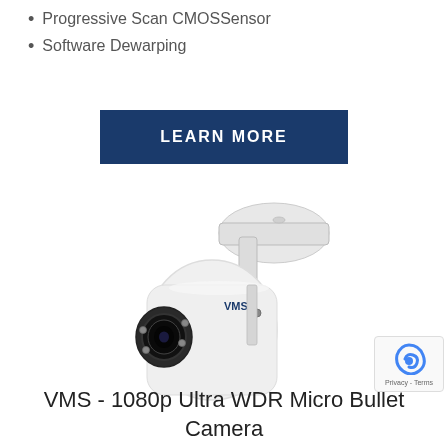Progressive Scan CMOSSensor
Software Dewarping
LEARN MORE
[Figure (photo): White VMS branded 1080p Ultra WDR Micro Bullet security camera with wall mount bracket, showing lens and IR LEDs on front face]
VMS - 1080p Ultra WDR Micro Bullet Camera